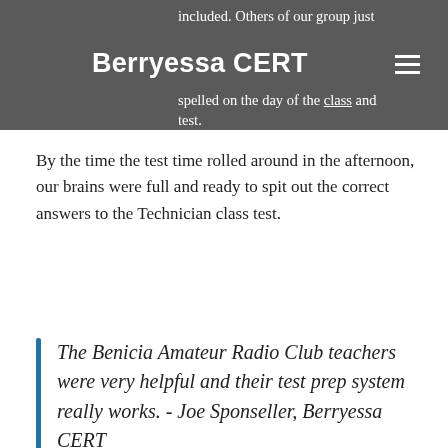included. Others of our group just
Berryessa CERT
spelled on the day of the class and test.
By the time the test time rolled around in the afternoon, our brains were full and ready to spit out the correct answers to the Technician class test.
The Benicia Amateur Radio Club teachers were very helpful and their test prep system really works. - Joe Sponseller, Berryessa CERT
After we'd all finished the test in silence, we met outside the testing building awaiting our test results. One by one, we were congratulated and told